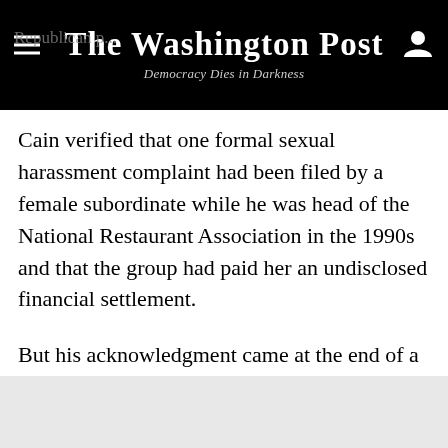The Washington Post — Democracy Dies in Darkness
Cain verified that one formal sexual harassment complaint had been filed by a female subordinate while he was head of the National Restaurant Association in the 1990s and that the group had paid her an undisclosed financial settlement.
But his acknowledgment came at the end of a rare day of campaigning in Washington in which he offered several conflicting accounts of the allegations in a Politico report, even as he emphatically denied that he had ever sexually harassed anyone in his life.